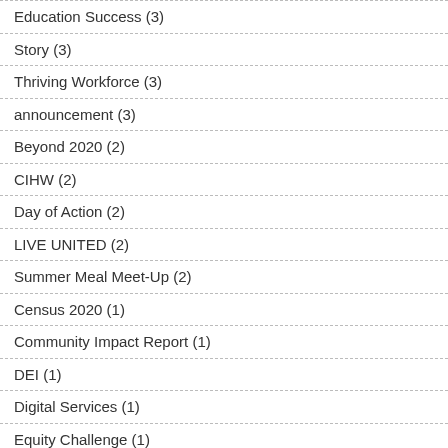Education Success (3)
Story (3)
Thriving Workforce (3)
announcement (3)
Beyond 2020 (2)
CIHW (2)
Day of Action (2)
LIVE UNITED (2)
Summer Meal Meet-Up (2)
Census 2020 (1)
Community Impact Report (1)
DEI (1)
Digital Services (1)
Equity Challenge (1)
Food Insecurity (1)
Free Meals (1)
Giving Gardens (1)
Health & Well-Being (1)
UNC (1)